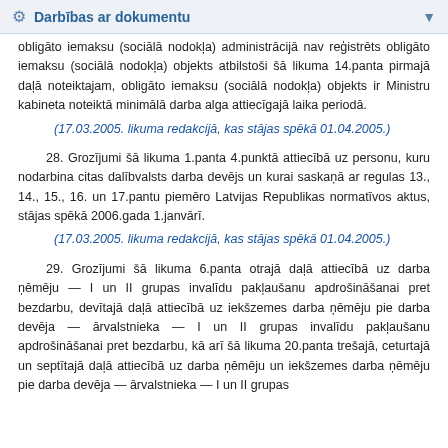Darbības ar dokumentu
obligāto iemaksu (sociālā nodokļa) administrācijā nav reģistrēts obligāto iemaksu (sociālā nodokļa) objekts atbilstoši šā likuma 14.panta pirmajā daļā noteiktajam, obligāto iemaksu (sociālā nodokļa) objekts ir Ministru kabineta noteiktā minimālā darba alga attiecīgajā laika periodā.
(17.03.2005. likuma redakcijā, kas stājas spēkā 01.04.2005.)
28. Grozījumi šā likuma 1.panta 4.punktā attiecībā uz personu, kuru nodarbina citas dalībvalsts darba devējs un kurai saskaņā ar regulas 13., 14., 15., 16. un 17.pantu piemēro Latvijas Republikas normatīvos aktus, stājas spēkā 2006.gada 1.janvārī.
(17.03.2005. likuma redakcijā, kas stājas spēkā 01.04.2005.)
29. Grozījumi šā likuma 6.panta otrajā daļā attiecībā uz darba ņēmēju — I un II grupas invalīdu pakļaušanu apdrošināšanai pret bezdarbu, devītajā daļā attiecībā uz iekšzemes darba ņēmēju pie darba devēja — ārvalstnieka — I un II grupas invalīdu pakļaušanu apdrošināšanai pret bezdarbu, kā arī šā likuma 20.panta trešajā, ceturtajā un septītajā daļā attiecībā uz darba ņēmēju un iekšzemes darba ņēmēju pie darba devēja — ārvalstnieka — I un II grupas